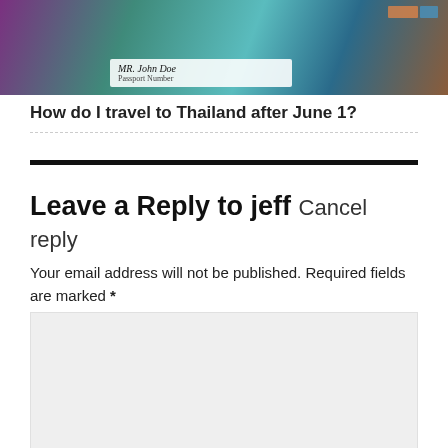[Figure (photo): Photo of a travel document/passport card with 'MR. John Don' and a passport number visible, colorful background with teal and purple tones, a boat visible in background]
How do I travel to Thailand after June 1?
Leave a Reply to jeff Cancel reply
Your email address will not be published. Required fields are marked *
[Figure (screenshot): Empty comment text area input box with light gray background]